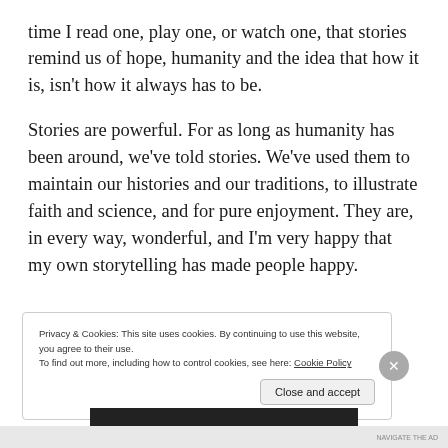time I read one, play one, or watch one, that stories remind us of hope, humanity and the idea that how it is, isn't how it always has to be.
Stories are powerful. For as long as humanity has been around, we've told stories. We've used them to maintain our histories and our traditions, to illustrate faith and science, and for pure enjoyment. They are, in every way, wonderful, and I'm very happy that my own storytelling has made people happy.
Privacy & Cookies: This site uses cookies. By continuing to use this website, you agree to their use.
To find out more, including how to control cookies, see here: Cookie Policy
Close and accept